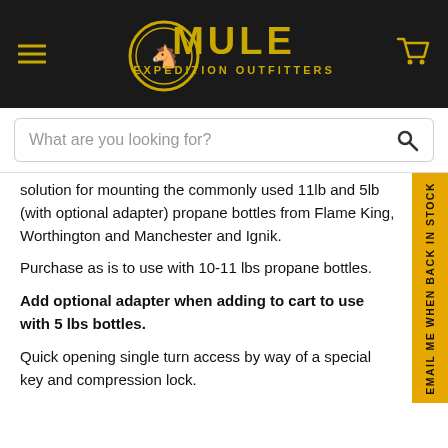Mule Expedition Outfitters
What are you looking for?
solution for mounting the commonly used 11lb and 5lb (with optional adapter) propane bottles from Flame King, Worthington and Manchester and Ignik.
Purchase as is to use with 10-11 lbs propane bottles.
Add optional adapter when adding to cart to use with 5 lbs bottles.
Quick opening single turn access by way of a special key and compression lock.
Constructed from .125 5052 Aluminum for strength and increased weight savings.